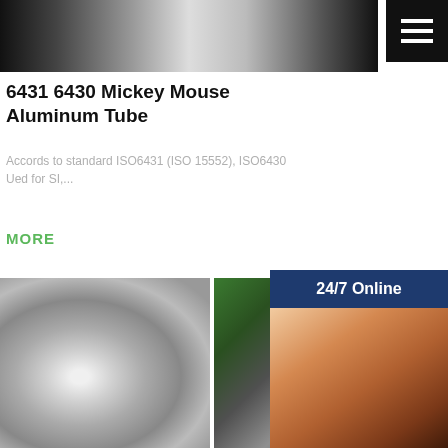[Figure (photo): Aluminum tube product photo - metallic silver cylindrical tube from above]
[Figure (screenshot): Hamburger menu icon (three white horizontal lines on black background)]
6431 6430 Mickey Mouse Aluminum Tube
Accords to standard ISO6431 (ISO 15552), ISO6430 Ued for SI,...
MORE
[Figure (infographic): 24/7 Online banner with dark blue background]
[Figure (photo): Customer service representative woman with headset smiling]
Have any requests, click here.
Quotation
[Figure (photo): Ck45 hard chrome plated rod - large reflective cylindrical flashlight-shaped metal component]
[Figure (photo): Mexico round extruder price list - aluminum extrusion profiles in green industrial setting]
Ck45Hard Chrome Plated Rodquiry Truck Central Africa
Mexico Roun Price List Extruder
Free download round steel bar